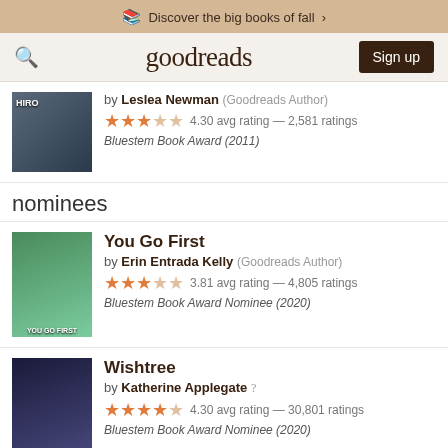Discover the big books of fall >
goodreads  Sign up
by Leslea Newman (Goodreads Author)
★★★ 4.30 avg rating — 2,581 ratings
Bluestem Book Award (2011)
nominees
You Go First
by Erin Entrada Kelly (Goodreads Author)
★★★ 3.81 avg rating — 4,805 ratings
Bluestem Book Award Nominee (2020)
Wishtree
by Katherine Applegate
★★★★ 4.30 avg rating — 30,801 ratings
Bluestem Book Award Nominee (2020)
Wet Cement: A Mix of Concrete Poems
by Bob Raczka
★★★ 4.21 avg rating — 1,001 ratings
Bluestem Book Award Nominee (2020)